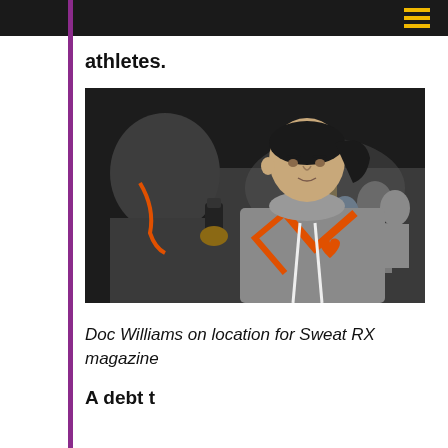athletes.
[Figure (photo): Doc Williams holding a microphone/recorder interviewing a woman in a grey hoodie with orange harness straps at what appears to be an indoor sporting event. The interviewer has an orange lanyard around his neck.]
Doc Williams on location for Sweat RX magazine
A debt to a number of dust has come...